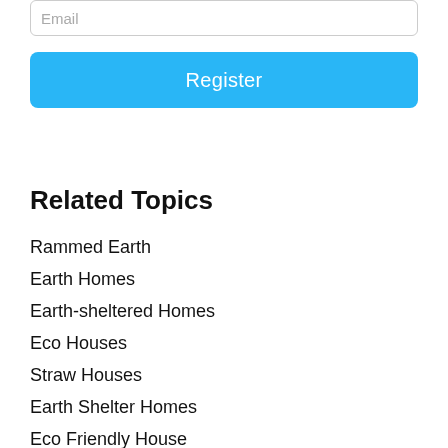Email
Register
Related Topics
Rammed Earth
Earth Homes
Earth-sheltered Homes
Eco Houses
Straw Houses
Earth Shelter Homes
Eco Friendly House